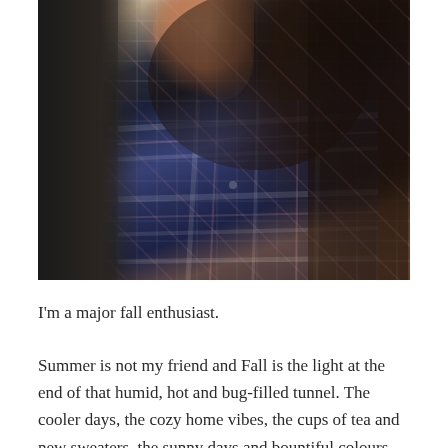[Figure (photo): A young woman with long dark hair wearing a navy blue plaid flannel shirt, holding something near her face (possibly a camera). She is posed in an indoor setting with what appears to be a fireplace or dark doorway in the background and hardwood floors visible.]
I'm a major fall enthusiast.
Summer is not my friend and Fall is the light at the end of that humid, hot and bug-filled tunnel. The cooler days, the cozy home vibes, the cups of tea and new sweaters, the sunny days and bountiful colours – it is my season.